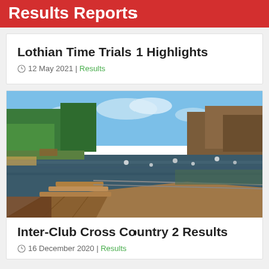Results Reports
Lothian Time Trials 1 Highlights
12 May 2021 | Results
[Figure (photo): Panoramic photo of a lake or reservoir surrounded by trees, with a wooden deck/pier structure in the foreground and reflections on the water surface. Blue sky with light clouds.]
Inter-Club Cross Country 2 Results
16 December 2020 | Results